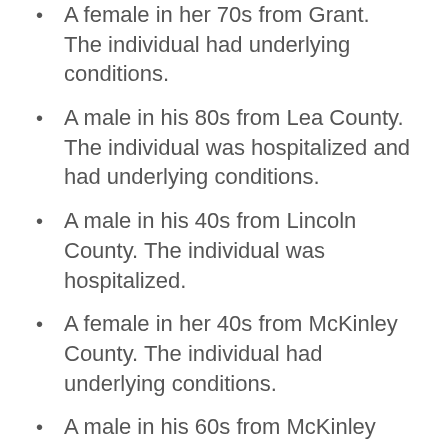A female in her 70s from Grant. The individual had underlying conditions.
A male in his 80s from Lea County. The individual was hospitalized and had underlying conditions.
A male in his 40s from Lincoln County. The individual was hospitalized.
A female in her 40s from McKinley County. The individual had underlying conditions.
A male in his 60s from McKinley County. The individual was hospitalized and had underlying conditions.
A female in her 80s from McKinley County. The individual was hospitalized.
A female in her 70s from Quay County.